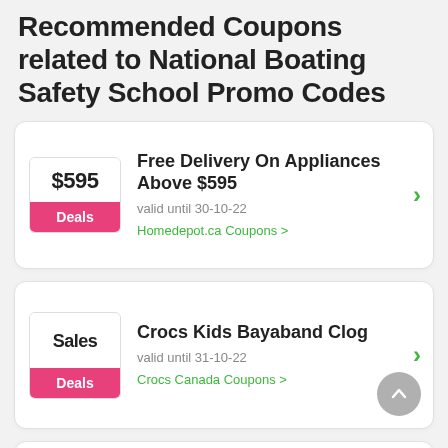Recommended Coupons related to National Boating Safety School Promo Codes
Free Delivery On Appliances Above $595 — valid until 30-10-22 — Homedepot.ca Coupons
Crocs Kids Bayaband Clog — valid until 31-10-22 — Crocs Canada Coupons
Save Up To Half Price With CanvasNDecor